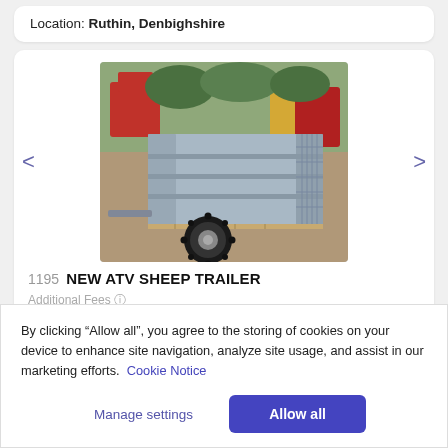Location: Ruthin, Denbighshire
[Figure (photo): Photograph of a new ATV sheep trailer — galvanized metal box trailer with wire mesh sides, wooden floor slats, and a single large knobby ATV tire, parked in a farmyard with red machinery in the background.]
1195  NEW ATV SHEEP TRAILER
Additional Fees
By clicking “Allow all”, you agree to the storing of cookies on your device to enhance site navigation, analyze site usage, and assist in our marketing efforts.  Cookie Notice
Manage settings
Allow all